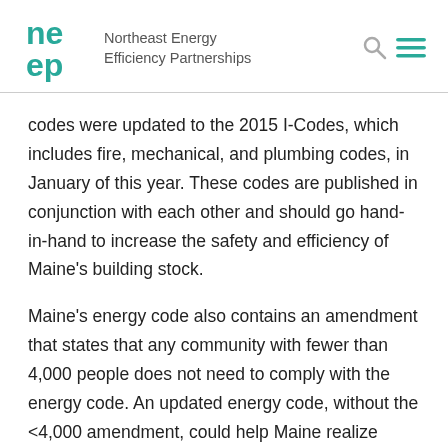Northeast Energy Efficiency Partnerships
codes were updated to the 2015 I-Codes, which includes fire, mechanical, and plumbing codes, in January of this year. These codes are published in conjunction with each other and should go hand-in-hand to increase the safety and efficiency of Maine’s building stock.
Maine’s energy code also contains an amendment that states that any community with fewer than 4,000 people does not need to comply with the energy code. An updated energy code, without the <4,000 amendment, could help Maine realize